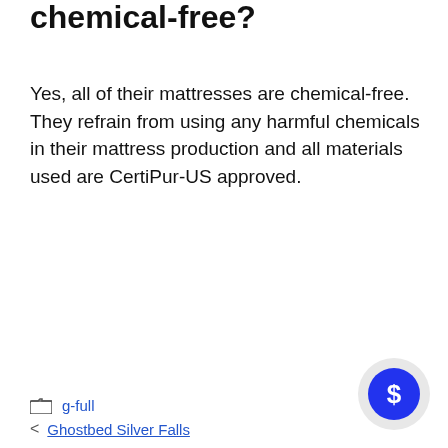chemical-free?
Yes, all of their mattresses are chemical-free. They refrain from using any harmful chemicals in their mattress production and all materials used are CertiPur-US approved.
g-full
< Ghostbed Silver Falls